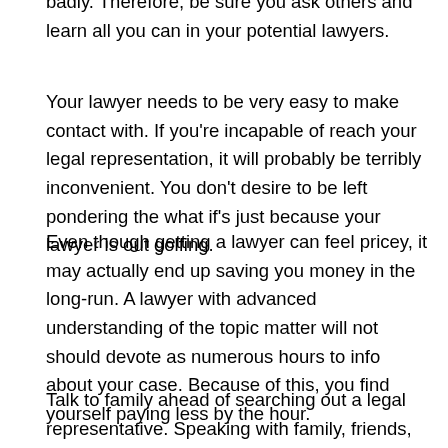badly. Therefore, be sure you ask others and learn all you can in your potential lawyers.
Your lawyer needs to be very easy to make contact with. If you're incapable of reach your legal representation, it will probably be terribly inconvenient. You don't desire to be left pondering the what if's just because your lawyer is out golfing.
Even though getting a lawyer can feel pricey, it may actually end up saving you money in the long-run. A lawyer with advanced understanding of the topic matter will not should devote as numerous hours to info about your case. Because of this, you find yourself paying less by the hour.
Talk to family ahead of searching out a legal representative. Speaking with family, friends, acquaintances, etc., you could can acquire excellent lawyer suggestions that are an excellent fit to suit your needs. This assists you see someone great immediately.
When evaluating an organization lawyer, try getting some business